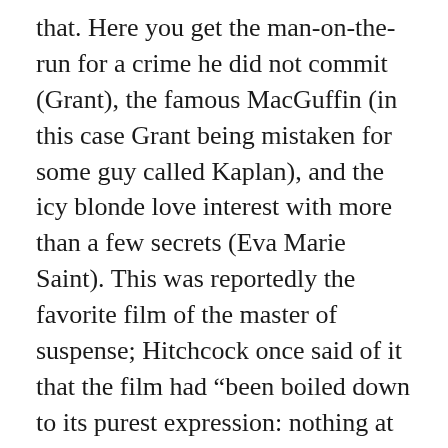that. Here you get the man-on-the-run for a crime he did not commit (Grant), the famous MacGuffin (in this case Grant being mistaken for some guy called Kaplan), and the icy blonde love interest with more than a few secrets (Eva Marie Saint). This was reportedly the favorite film of the master of suspense; Hitchcock once said of it that the film had “been boiled down to its purest expression: nothing at all!”
Yet even the most casual analysis of Hitchcock’s films would indicate that the master was being a little unkind to his own body of work. Certainly, few people would disagree that Alfred Hitchcock was a master filmmaker. But why are his films so much